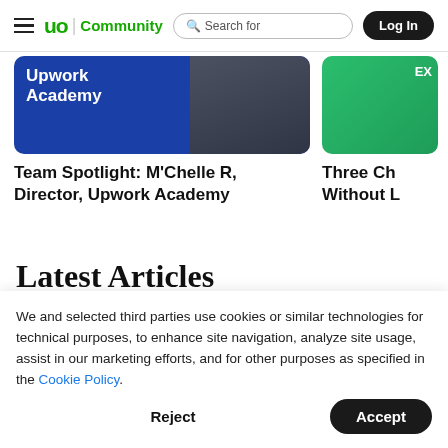Upwork Community — navigation bar with hamburger menu, logo, search, and Log In button
[Figure (screenshot): Upwork Academy article card image — blue background with 'Upwork Academy' text and a person in dark clothing]
Team Spotlight: M'Chelle R, Director, Upwork Academy
[Figure (screenshot): Partially visible green card image with 'EX' text visible]
Three Ch Without L
Latest Articles
We and selected third parties use cookies or similar technologies for technical purposes, to enhance site navigation, analyze site usage, assist in our marketing efforts, and for other purposes as specified in the Cookie Policy.
Accept
Reject